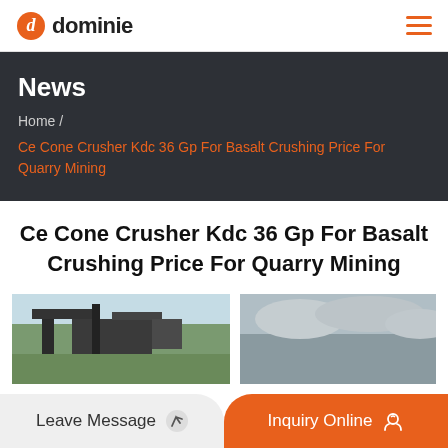dominie
News
Home / Ce Cone Crusher Kdc 36 Gp For Basalt Crushing Price For Quarry Mining
Ce Cone Crusher Kdc 36 Gp For Basalt Crushing Price For Quarry Mining
[Figure (photo): Two industrial crusher/mining equipment photos side by side]
Leave Message
Inquiry Online